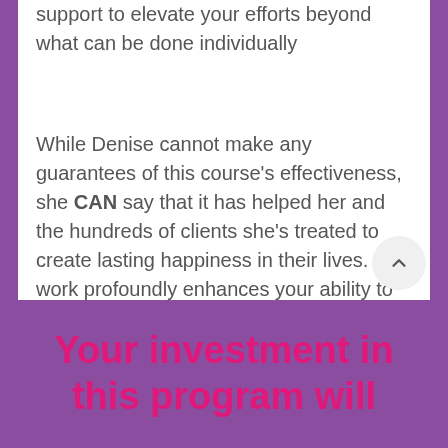support to elevate your efforts beyond what can be done individually
While Denise cannot make any guarantees of this course's effectiveness, she CAN say that it has helped her and the hundreds of clients she's treated to create lasting happiness in their lives. This work profoundly enhances your ability to transform your love life!  See testimonials below!
Your investment in this program will